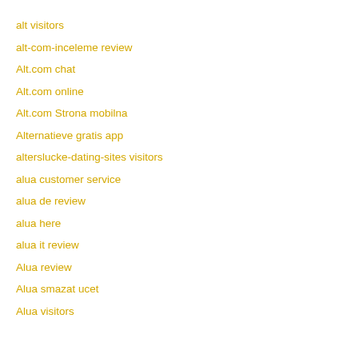alt visitors
alt-com-inceleme review
Alt.com chat
Alt.com online
Alt.com Strona mobilna
Alternatieve gratis app
alterslucke-dating-sites visitors
alua customer service
alua de review
alua here
alua it review
Alua review
Alua smazat ucet
Alua visitors